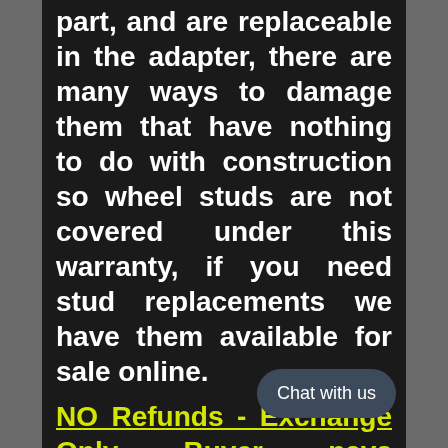part, and are replaceable in the adapter, there are many ways to damage them that have nothing to do with construction so wheel studs are not covered under this warranty, if you need stud replacements we have them available for sale online.
NO Refunds - Exchange Only Buyer pays shipping both ways.
NO Returns after 30 days
Adapters that ha bolted to the vehicle returnable, only parts in